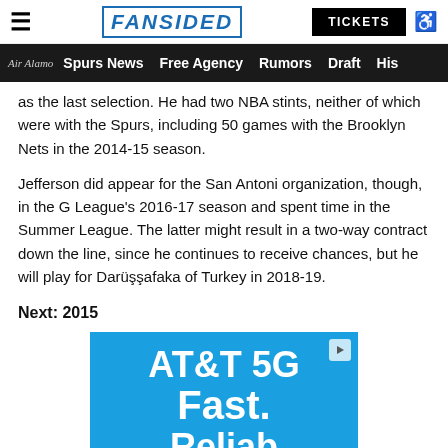FanSided | Spurs News | Free Agency | Rumors | Draft | His
as the last selection. He had two NBA stints, neither of which were with the Spurs, including 50 games with the Brooklyn Nets in the 2014-15 season.
Jefferson did appear for the San Antoni organization, though, in the G League's 2016-17 season and spent time in the Summer League. The latter might result in a two-way contract down the line, since he continues to receive chances, but he will play for Darüşşafaka of Turkey in 2018-19.
Next: 2015
[Figure (other): AT&T 5G advertisement banner with blue background showing 'AT&T 5G Fast. Reliable.' text in white]